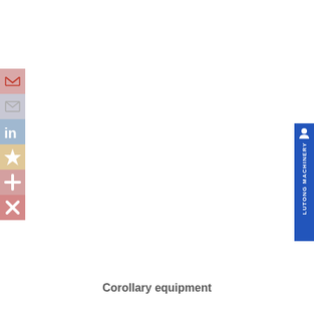[Figure (infographic): Left social media share/action bar with 6 icons: Gmail (red envelope), mail (grey envelope), LinkedIn (blue 'in'), star/bookmark (orange star), add (pink plus), close (red X)]
[Figure (infographic): Right vertical blue bar with person icon and text 'LUTONG MACHINERY' written vertically]
Corollary equipment